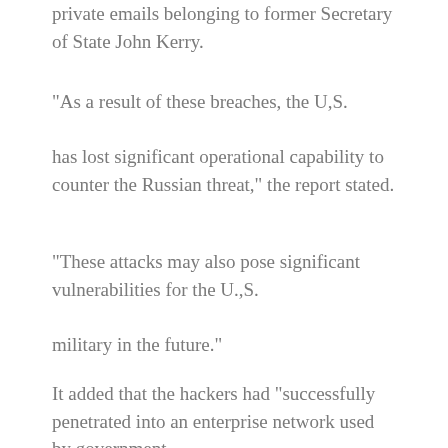private emails belonging to former Secretary of State John Kerry.
“As a result of these breaches, the U,S. has lost significant operational capability to counter the Russian threat,” the report stated.
“These attacks may also pose significant vulnerabilities for the U.,S. military in the future.”
It added that the hackers had “successfully penetrated into an enterprise network used by government, business, and defense organizations worldwide.”
It’s not clear exactly how the hackers accessed the private data, but the report noted that Crowdstrike